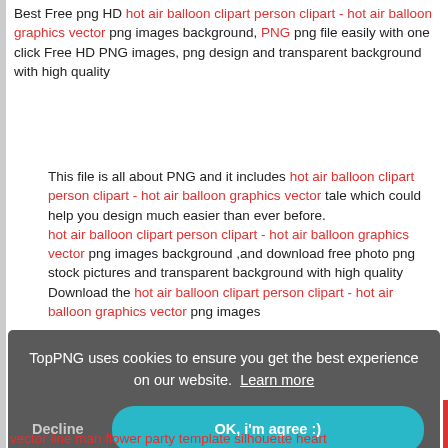Best Free png HD hot air balloon clipart person clipart - hot air balloon graphics vector png images background, PNG png file easily with one click Free HD PNG images, png design and transparent background with high quality
This file is all about PNG and it includes hot air balloon clipart person clipart - hot air balloon graphics vector tale which could help you design much easier than ever before. hot air balloon clipart person clipart - hot air balloon graphics vector png images background ,and download free photo png stock pictures and transparent background with high quality Download the hot air balloon clipart person clipart - hot air balloon graphics vector png images
TopPNG uses cookies to ensure you get the best experience on our website. Learn more
Decline
OK, i'm agree :)
vector line man flower party template silhouette heart